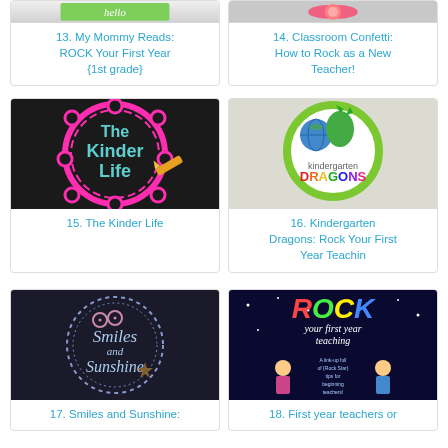[Figure (illustration): Partial image of item 13 - My Mommy Reads blog logo with hello text on green]
13. My Mommy Reads: ROCK Your First Year {1st grade}
[Figure (illustration): Partial image of item 14 - Classroom Confetti blog logo]
14. Classroom Confetti: How to Rock as a New Teacher!
[Figure (illustration): The Kinder Life logo - pink scalloped frame on black background with teal text and crayon]
15. The Kinder Life
[Figure (illustration): Kindergarten Dragons logo - green circle with dragon and globe, colorful DRAGONS text]
16. Kindergarten Dragons: Rock Your First Year Teachin
[Figure (illustration): Smiles and Sunshine logo - circular dotted border with script text on black background]
17. Smiles and Sunshine:
[Figure (illustration): ROCK your first year teaching graphic - colorful text with cartoon characters on dark space background]
18. First year teachers or